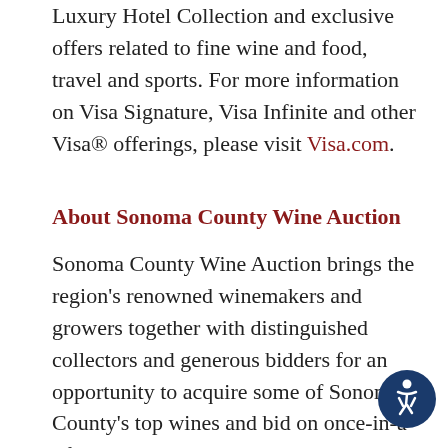Luxury Hotel Collection and exclusive offers related to fine wine and food, travel and sports. For more information on Visa Signature, Visa Infinite and other Visa® offerings, please visit Visa.com.
About Sonoma County Wine Auction
Sonoma County Wine Auction brings the region's renowned winemakers and growers together with distinguished collectors and generous bidders for an opportunity to acquire some of Sonoma County's top wines and bid on once-in-a-lifetime travel experiences. Named one of the nation's top charitable auctions by Wine Spectator, the proceeds raised benefit